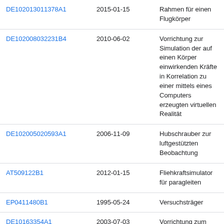| Patent | Date | Title |
| --- | --- | --- |
| DE102013011378A1 | 2015-01-15 | Rahmen für einen Flugkörper |
| DE102008032231B4 | 2010-06-02 | Vorrichtung zur Simulation der auf einen Körper einwirkenden Kräfte in Korrelation zu einer mittels eines Computers erzeugten virtuellen Realität |
| DE102005020593A1 | 2006-11-09 | Hubschrauber zur luftgestützten Beobachtung |
| AT509122B1 | 2012-01-15 | Fliehkraftsimulator für paragleiten |
| EP0411480B1 | 1995-05-24 | Versuchsträger |
| DE10163354A1 | 2003-07-03 | Vorrichtung zum Halten einer optischen Betrachtungseinrichtung |
| AT7838U1 | 2005-09-26 | Simulationsvorrichtung |
| DE202016100060U1 | 2016-02-24 | Flugobjektsystem, insbesondere |